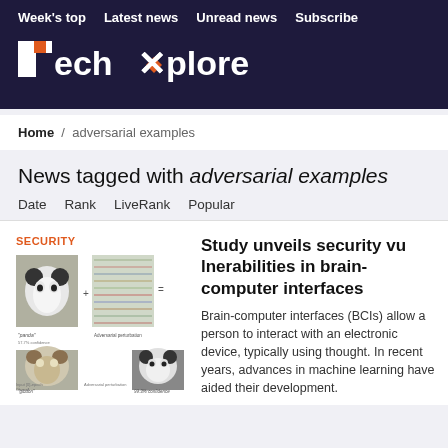Week's top  Latest news  Unread news  Subscribe
[Figure (logo): TechXplore logo — stylized T and X with orange accent on dark navy background]
Home / adversarial examples
News tagged with adversarial examples
Date  Rank  LiveRank  Popular
SECURITY
[Figure (illustration): Adversarial examples illustration showing panda image, adversarial perturbation, and gibbon misclassification with confidence scores and feature maps]
Study unveils security vulnerabilities in brain-computer interfaces
Brain-computer interfaces (BCIs) allow a person to interact with an electronic device, typically using thought. In recent years, advances in machine learning have aided their development.